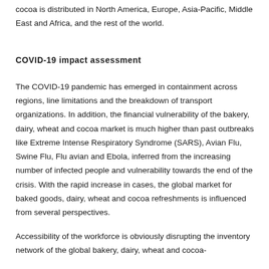cocoa is distributed in North America, Europe, Asia-Pacific, Middle East and Africa, and the rest of the world.
COVID-19 impact assessment
The COVID-19 pandemic has emerged in containment across regions, line limitations and the breakdown of transport organizations. In addition, the financial vulnerability of the bakery, dairy, wheat and cocoa market is much higher than past outbreaks like Extreme Intense Respiratory Syndrome (SARS), Avian Flu, Swine Flu, Flu avian and Ebola, inferred from the increasing number of infected people and vulnerability towards the end of the crisis. With the rapid increase in cases, the global market for baked goods, dairy, wheat and cocoa refreshments is influenced from several perspectives.
Accessibility of the workforce is obviously disrupting the inventory network of the global bakery, dairy, wheat and cocoa-